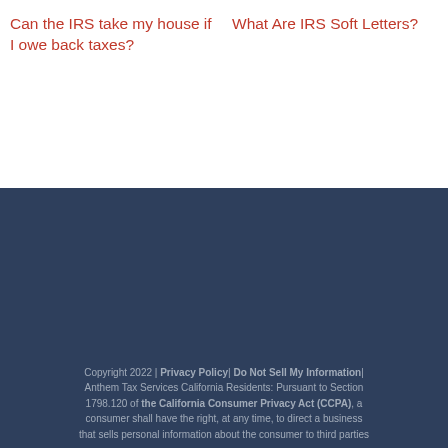Can the IRS take my house if I owe back taxes?
What Are IRS Soft Letters?
Copyright 2022 | Privacy Policy| Do Not Sell My Information| Anthem Tax Services California Residents: Pursuant to Section 1798.120 of the California Consumer Privacy Act (CCPA), a consumer shall have the right, at any time, to direct a business that sells personal information about the consumer to third parties